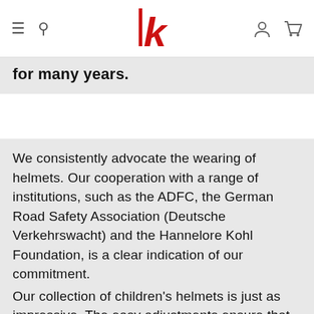— ⌕ [logo K] 👤 🛒
for many years.
We consistently advocate the wearing of helmets. Our cooperation with a range of institutions, such as the ADFC, the German Road Safety Association (Deutsche Verkehrswacht) and the Hannelore Kohl Foundation, is a clear indication of our commitment. Our collection of children's helmets is just as impressive. The easy adjustments ensure that they fit perfectly on the head. Reflectors or an integrated back light provide additional safety.